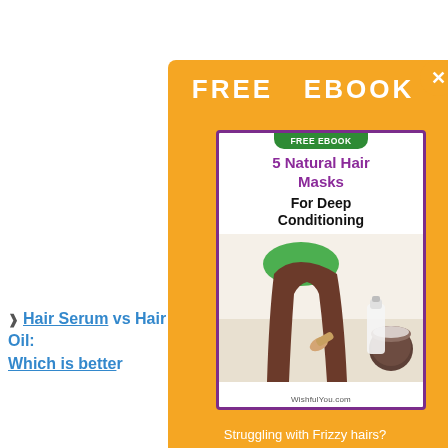[Figure (screenshot): Orange popup modal for a free ebook about 5 Natural Hair Masks For Deep Conditioning from WishfulYou.com. Shows book cover with a woman brushing her long hair and natural ingredients.]
FREE  EBOOK
Struggling with Frizzy hairs? Start using these 5 deep condition recipes
Hair Serum vs Hair Oil: Which is better